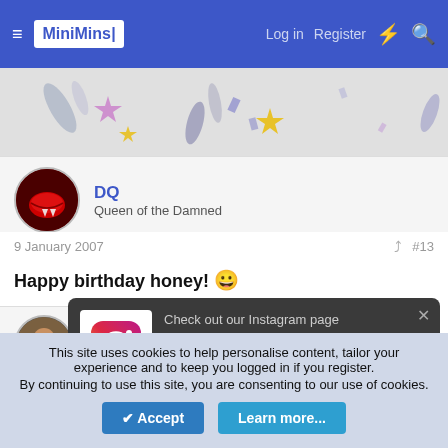MiniMins — Log in  Register
[Figure (illustration): Confetti and stars decorative banner graphic]
DQ
Queen of the Damned
9 January 2007  #13
Happy birthday honey! 😀
MandyB2
Moderator/CD Counsellor
Check out our Instagram page MiniMinsDotCom for new content, recipies, ideas and motivation!
This site uses cookies to help personalise content, tailor your experience and to keep you logged in if you register.
By continuing to use this site, you are consenting to our use of cookies.